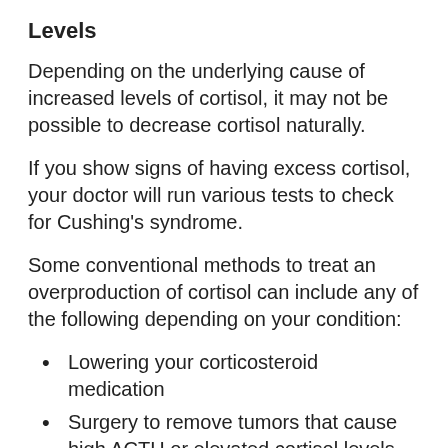Levels
Depending on the underlying cause of increased levels of cortisol, it may not be possible to decrease cortisol naturally.
If you show signs of having excess cortisol, your doctor will run various tests to check for Cushing's syndrome.
Some conventional methods to treat an overproduction of cortisol can include any of the following depending on your condition:
Lowering your corticosteroid medication
Surgery to remove tumors that cause high ACTH or elevated cortisol levels
Medications to help regulate and